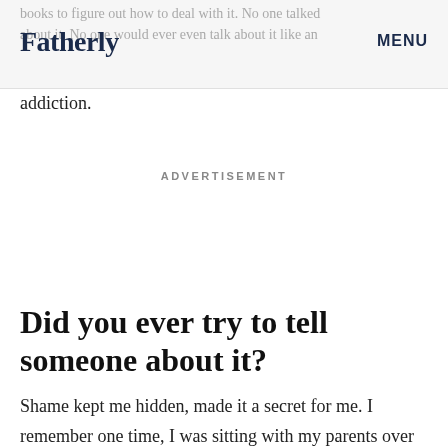books to figure out how to deal with it. No one talked about it. No one would ever even talk about it like an addiction. | Fatherly | MENU
addiction.
ADVERTISEMENT
Did you ever try to tell someone about it?
Shame kept me hidden, made it a secret for me. I remember one time, I was sitting with my parents over the dinner table. My dad serviced some